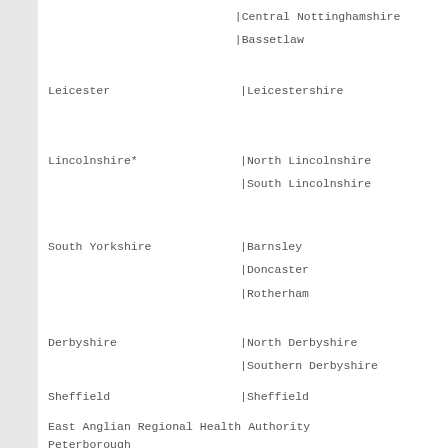|Central Nottinghamshire
|Bassetlaw
Leicester
|Leicestershire
Lincolnshire*
|North Lincolnshire
|South Lincolnshire
South Yorkshire
|Barnsley
|Doncaster
|Rotherham
Derbyshire
|North Derbyshire
|Southern Derbyshire
Sheffield
|Sheffield
East Anglian Regional Health Authority
Peterborough